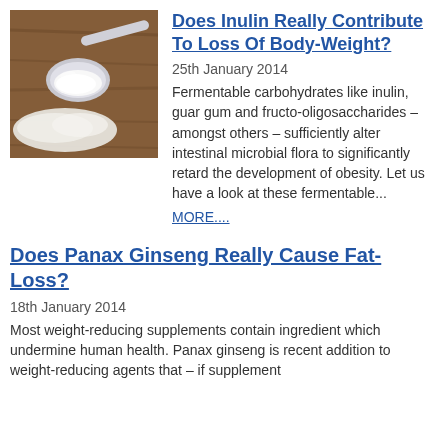[Figure (photo): A silver spoon with white powder (inulin) on a wooden background]
Does Inulin Really Contribute To Loss Of Body-Weight?
25th January 2014
Fermentable carbohydrates like inulin, guar gum and fructo-oligosaccharides – amongst others – sufficiently alter intestinal microbial flora to significantly retard the development of obesity. Let us have a look at these fermentable...
MORE....
Does Panax Ginseng Really Cause Fat-Loss?
18th January 2014
Most weight-reducing supplements contain ingredient which undermine human health. Panax ginseng is recent addition to weight-reducing agents that – if supplement